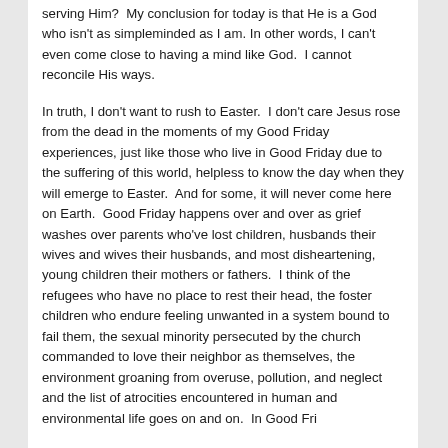serving Him?  My conclusion for today is that He is a God who isn't as simpleminded as I am. In other words, I can't even come close to having a mind like God.  I cannot reconcile His ways.
In truth, I don't want to rush to Easter.  I don't care Jesus rose from the dead in the moments of my Good Friday experiences, just like those who live in Good Friday due to the suffering of this world, helpless to know the day when they will emerge to Easter.  And for some, it will never come here on Earth.  Good Friday happens over and over as grief washes over parents who've lost children, husbands their wives and wives their husbands, and most disheartening, young children their mothers or fathers.  I think of the refugees who have no place to rest their head, the foster children who endure feeling unwanted in a system bound to fail them, the sexual minority persecuted by the church commanded to love their neighbor as themselves, the environment groaning from overuse, pollution, and neglect and the list of atrocities encountered in human and environmental life goes on and on.  In Good Fri... [continues]